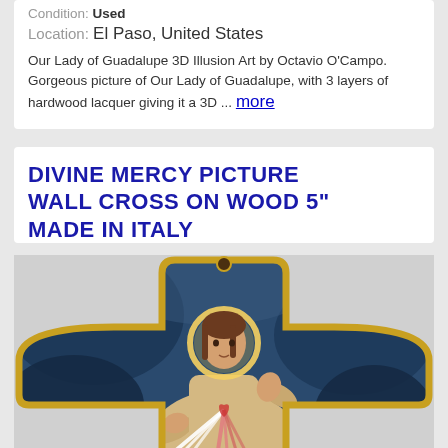Condition: Used
Location: El Paso, United States
Our Lady of Guadalupe 3D Illusion Art by Octavio O'Campo. Gorgeous picture of Our Lady of Guadalupe, with 3 layers of hardwood lacquer giving it a 3D ... more
DIVINE MERCY PICTURE WALL CROSS ON WOOD 5" MADE IN ITALY
[Figure (photo): A wooden cross-shaped wall plaque featuring the Divine Mercy image of Jesus Christ. The cross shape has rounded ends with a gold border. The background is dark blue with clouds. Jesus is depicted with a halo, wearing cream robes, right hand raised in blessing, left hand pointing to his heart from which radiate white and red rays of light. The cross has a small hanging hole at the top.]